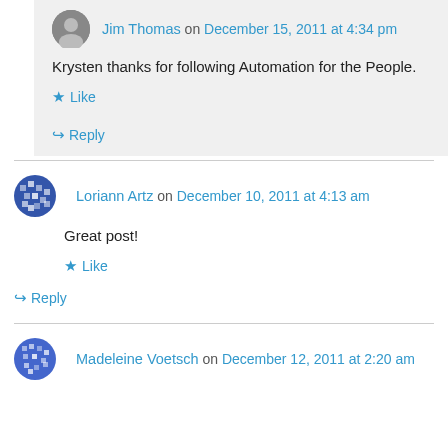Jim Thomas on December 15, 2011 at 4:34 pm
Krysten thanks for following Automation for the People.
Like
Reply
Loriann Artz on December 10, 2011 at 4:13 am
Great post!
Like
Reply
Madeleine Voetsch on December 12, 2011 at 2:20 am